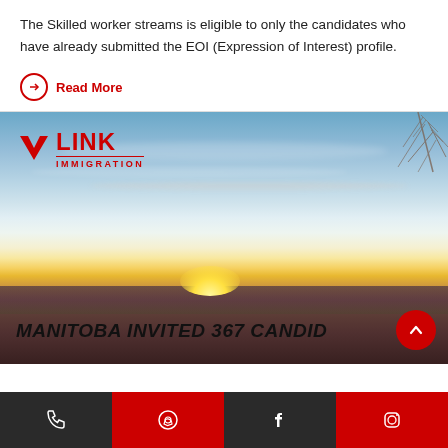The Skilled worker streams is eligible to only the candidates who have already submitted the EOI (Expression of Interest) profile.
Read More
[Figure (photo): VLink Immigration logo on a sunset landscape banner with tree silhouette and Manitoba invited 367 candidates headline text at bottom]
Phone | WhatsApp | Facebook | Instagram